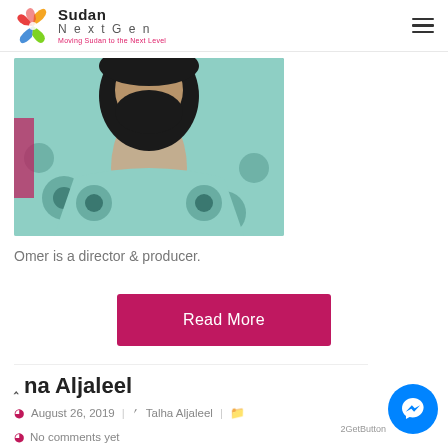Sudan NextGen — Moving Sudan to the Next Level
[Figure (photo): Photo of a bearded man wearing a light blue/teal patterned floral shirt, cropped to show neck and upper body]
Omer is a director & producer.
Read More
na Aljaleel
August 26, 2019 | Talha Aljaleel |
No comments yet